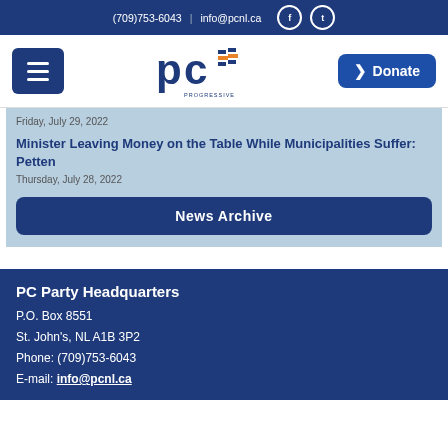(709)753-6043 | info@pcnl.ca
[Figure (logo): Progressive Conservative Party of Newfoundland and Labrador logo with PC letters and flag motif]
Friday, July 29, 2022
Minister Leaving Money on the Table While Municipalities Suffer: Petten
Thursday, July 28, 2022
News Archive
PC Party Headquarters
P.O. Box 8551
St. John's, NL A1B 3P2
Phone: (709)753-6043
E-mail: info@pcnl.ca